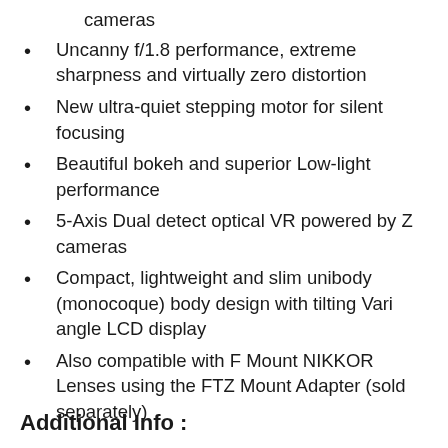cameras
Uncanny f/1.8 performance, extreme sharpness and virtually zero distortion
New ultra-quiet stepping motor for silent focusing
Beautiful bokeh and superior Low-light performance
5-Axis Dual detect optical VR powered by Z cameras
Compact, lightweight and slim unibody (monocoque) body design with tilting Vari angle LCD display
Also compatible with F Mount NIKKOR Lenses using the FTZ Mount Adapter (sold separately)
Additional Info :